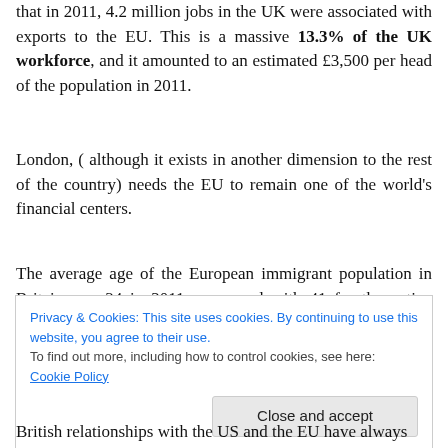that in 2011, 4.2 million jobs in the UK were associated with exports to the EU. This is a massive 13.3% of the UK workforce, and it amounted to an estimated £3,500 per head of the population in 2011.
London, ( although it exists in another dimension to the rest of the country) needs the EU to remain one of the world's financial centers.
The average age of the European immigrant population in Britain was 34 in 2011, compared with 41 for the native population which leave me at a lost to understand all the
Privacy & Cookies: This site uses cookies. By continuing to use this website, you agree to their use.
To find out more, including how to control cookies, see here: Cookie Policy
British relationships with the US and the EU have always